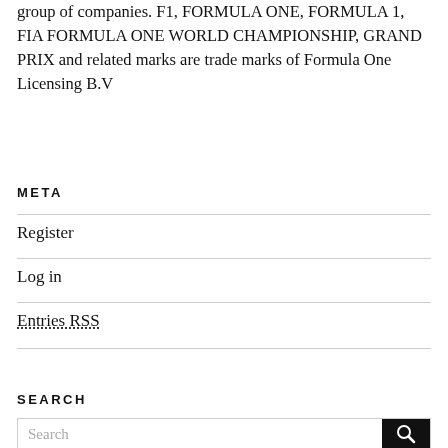group of companies. F1, FORMULA ONE, FORMULA 1, FIA FORMULA ONE WORLD CHAMPIONSHIP, GRAND PRIX and related marks are trade marks of Formula One Licensing B.V
META
Register
Log in
Entries RSS
SEARCH